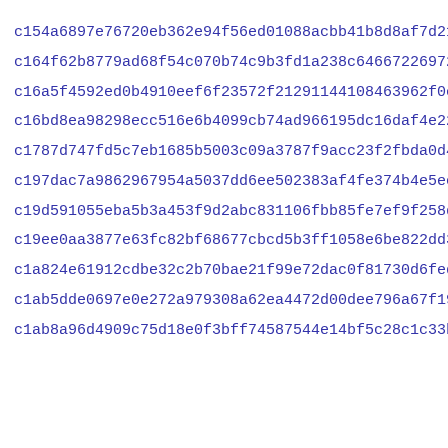c154a6897e76720eb362e94f56ed01088acbb41b8d8af7d213a669cc2dcea
c164f62b8779ad68f54c070b74c9b3fd1a238c64667226972575a2efa1732
c16a5f4592ed0b4910eef6f23572f21291144108463962f0e889d3eac82a0
c16bd8ea98298ecc516e6b4099cb74ad966195dc16daf4e22257cd5d47d7c
c1787d747fd5c7eb1685b5003c09a3787f9acc23f2fbda0d47031ae7d69cd
c197dac7a9862967954a5037dd6ee502383af4fe374b4e5ec46c7f0a0a2f8
c19d591055eba5b3a453f9d2abc831106fbb85fe7ef9f258d728116441952
c19ee0aa3877e63fc82bf68677cbcd5b3ff1058e6be822dd34ea9629d5f44
c1a824e61912cdbe32c2b70bae21f99e72dac0f81730d6fed5afdbb2a3d3f
c1ab5dde0697e0e272a979308a62ea4472d00dee796a67f19a18488726e0e
c1ab8a96d4909c75d18e0f3bff74587544e14bf5c28c1c33b6a203833fbf0